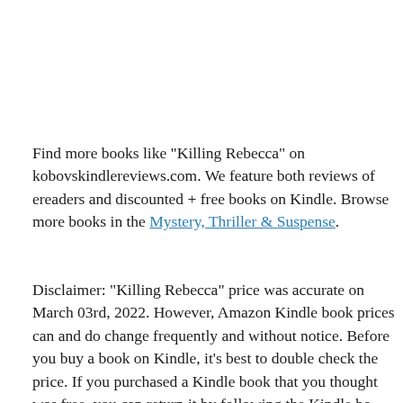Find more books like "Killing Rebecca" on kobovskindlereviews.com. We feature both reviews of ereaders and discounted + free books on Kindle. Browse more books in the Mystery, Thriller & Suspense.
Disclaimer: "Killing Rebecca" price was accurate on March 03rd, 2022. However, Amazon Kindle book prices can and do change frequently and without notice. Before you buy a book on Kindle, it's best to double check the price. If you purchased a Kindle book that you thought was free, you can return it by following the Kindle book return process.